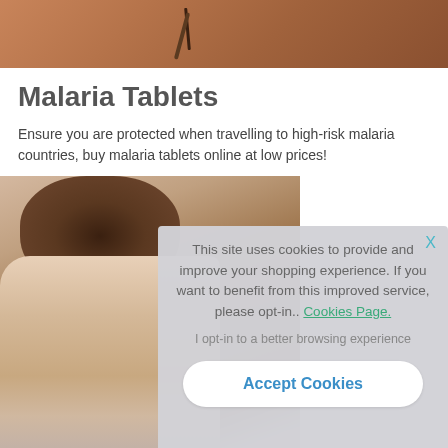[Figure (photo): Close-up photo of skin with needle/acupuncture pins visible, warm brown tones]
Malaria Tablets
Ensure you are protected when travelling to high-risk malaria countries, buy malaria tablets online at low prices!
[Figure (photo): Person with dark hair holding their head in hands, appearing distressed, white background]
This site uses cookies to provide and improve your shopping experience. If you want to benefit from this improved service, please opt-in.. Cookies Page.

I opt-in to a better browsing experience

Accept Cookies